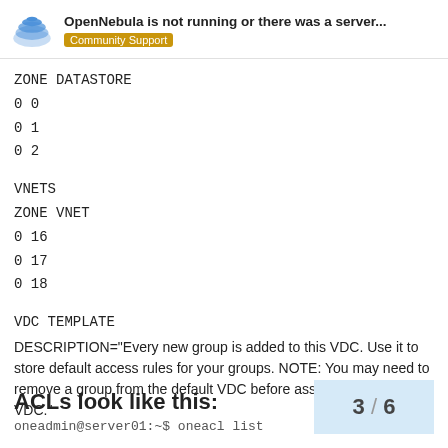OpenNebula is not running or there was a server... | Community Support
ZONE DATASTORE
0 0
0 1
0 2
VNETS
ZONE VNET
0 16
0 17
0 18
VDC TEMPLATE
DESCRIPTION="Every new group is added to this VDC. Use it to store default access rules for your groups. NOTE: You may need to remove a group from the default VDC before assigning it to other VDC."
ACLs look like this:
oneadmin@server01:~$ oneacl list